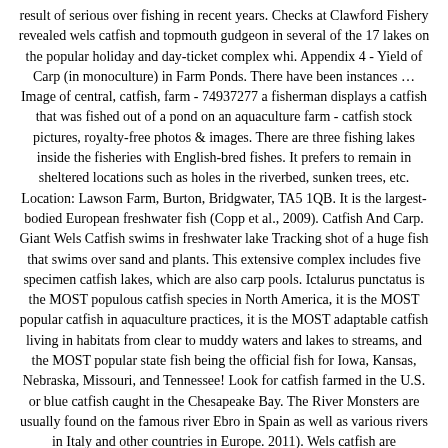result of serious over fishing in recent years. Checks at Clawford Fishery revealed wels catfish and topmouth gudgeon in several of the 17 lakes on the popular holiday and day-ticket complex whi. Appendix 4 - Yield of Carp (in monoculture) in Farm Ponds. There have been instances … Image of central, catfish, farm - 74937277 a fisherman displays a catfish that was fished out of a pond on an aquaculture farm - catfish stock pictures, royalty-free photos & images. There are three fishing lakes inside the fisheries with English-bred fishes. It prefers to remain in sheltered locations such as holes in the riverbed, sunken trees, etc. Location: Lawson Farm, Burton, Bridgwater, TA5 1QB. It is the largest-bodied European freshwater fish (Copp et al., 2009). Catfish And Carp. Giant Wels Catfish swims in freshwater lake Tracking shot of a huge fish that swims over sand and plants. This extensive complex includes five specimen catfish lakes, which are also carp pools. Ictalurus punctatus is the MOST populous catfish species in North America, it is the MOST popular catfish in aquaculture practices, it is the MOST adaptable catfish living in habitats from clear to muddy waters and lakes to streams, and the MOST popular state fish being the official fish for Iowa, Kansas, Nebraska, Missouri, and Tennessee! Look for catfish farmed in the U.S. or blue catfish caught in the Chesapeake Bay. The River Monsters are usually found on the famous river Ebro in Spain as well as various rivers in Italy and other countries in Europe. 2011). Wels catfish are distinguishable by an elongated scale-less, slime-covered body,